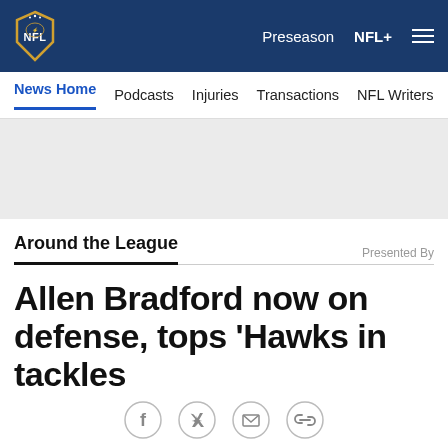NFL — Preseason NFL+
News Home  Podcasts  Injuries  Transactions  NFL Writers  Se
[Figure (other): Gray advertisement banner area]
Around the League
Presented By
Allen Bradford now on defense, tops 'Hawks in tackles
[Figure (other): Social sharing icons: Facebook, Twitter, Email, Link]